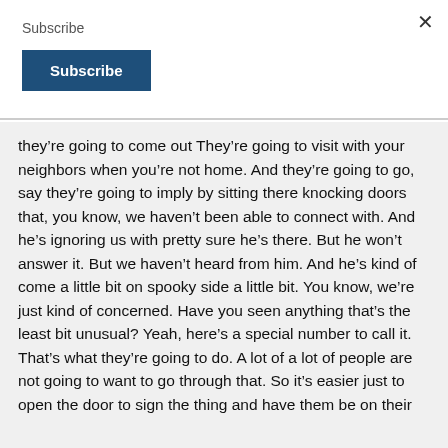Subscribe
they’re going to come out They’re going to visit with your neighbors when you’re not home. And they’re going to go, say they’re going to imply by sitting there knocking doors that, you know, we haven’t been able to connect with. And he’s ignoring us with pretty sure he’s there. But he won’t answer it. But we haven’t heard from him. And he’s kind of come a little bit on spooky side a little bit. You know, we’re just kind of concerned. Have you seen anything that’s the least bit unusual? Yeah, here’s a special number to call it. That’s what they’re going to do. A lot of a lot of people are not going to want to go through that. So it’s easier just to open the door to sign the thing and have them be on their